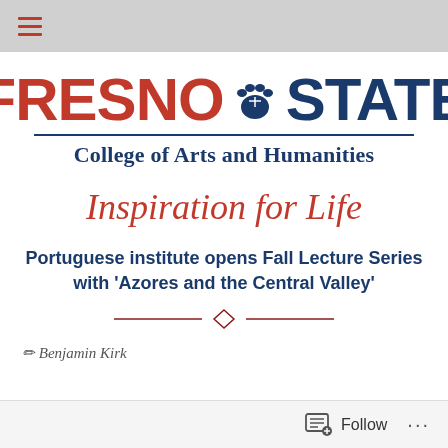≡ (navigation menu icon)
[Figure (logo): Fresno State College of Arts and Humanities logo with red FRESNO text, blue paw print, blue STATE text, and blue College of Arts and Humanities subtitle]
Inspiration for Life
Portuguese institute opens Fall Lecture Series with 'Azores and the Central Valley'
Benjamin Kirk
Follow ...